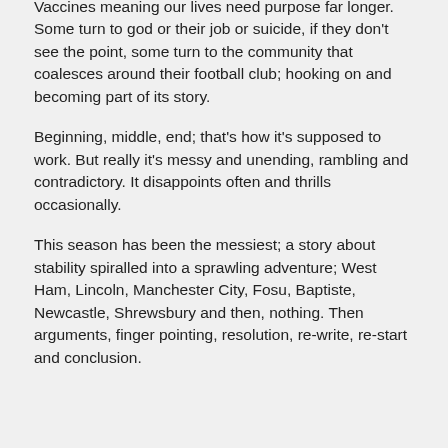Vaccines meaning our lives need purpose far longer. Some turn to god or their job or suicide, if they don't see the point, some turn to the community that coalesces around their football club; hooking on and becoming part of its story.
Beginning, middle, end; that's how it's supposed to work. But really it's messy and unending, rambling and contradictory. It disappoints often and thrills occasionally.
This season has been the messiest; a story about stability spiralled into a sprawling adventure; West Ham, Lincoln, Manchester City, Fosu, Baptiste, Newcastle, Shrewsbury and then, nothing. Then arguments, finger pointing, resolution, re-write, re-start and conclusion.